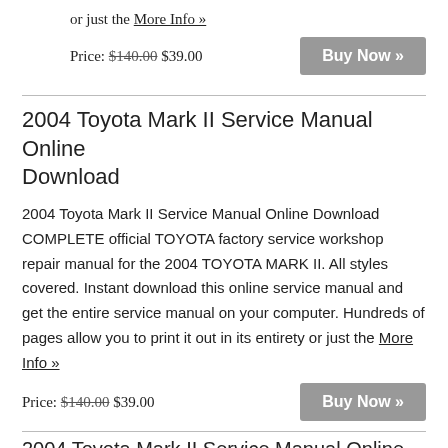or just the More Info »
Price: $140.00 $39.00
Buy Now »
2004 Toyota Mark II Service Manual Online Download
2004 Toyota Mark II Service Manual Online Download COMPLETE official TOYOTA factory service workshop repair manual for the 2004 TOYOTA MARK II. All styles covered. Instant download this online service manual and get the entire service manual on your computer. Hundreds of pages allow you to print it out in its entirety or just the More Info »
Price: $140.00 $39.00
Buy Now »
2004 Toyota Mark II Service Manual Online Download